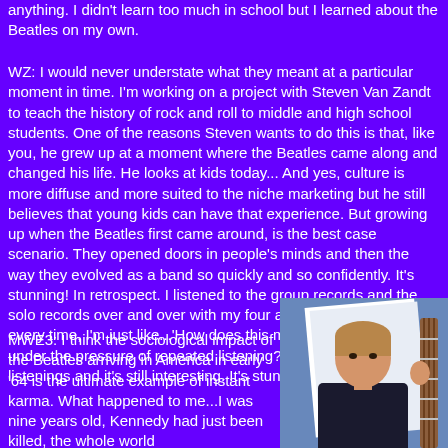anything. I didn't learn too much in school but I learned about the Beatles on my own.
WZ: I would never understate what they meant at a particular moment in time. I'm working on a project with Steven Van Zandt to teach the history of rock and roll to middle and high school students. One of the reasons Steven wants to do this is that, like you, he grew up at a moment where the Beatles came along and changed his life. He looks at kids today... And yes, culture is more diffuse and more suited to the niche marketing but he still believes that young kids can have that experience. But growing up when the Beatles first came around, is the best case scenario. They opened doors in people's minds and then the way they evolved as a band so quickly and so confidently. It's stunning! In retrospect. I listened to the group records and the solo records over and over with my four and six year olds and every time, I'm just like...'How does this music stay so fresh under the pressure of repeated listening? Thousands of repeated listenings and it's still interesting. It's stunning.
MWE3: I think the sociological impact of the Beatles arriving in America in early '64 is the ultimate example of instant karma. What happened to me...I was nine years old, Kennedy had just been killed, the whole world
[Figure (photo): Photo of a young man with light brown hair holding a guitar, wearing a dark suit, with a blue background]